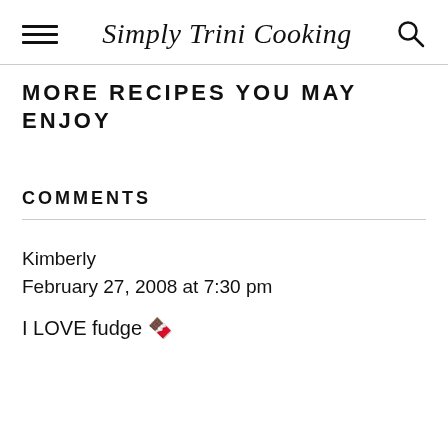Simply Trini Cooking
MORE RECIPES YOU MAY ENJOY
COMMENTS
Kimberly
February 27, 2008 at 7:30 pm
I LOVE fudge 🍫